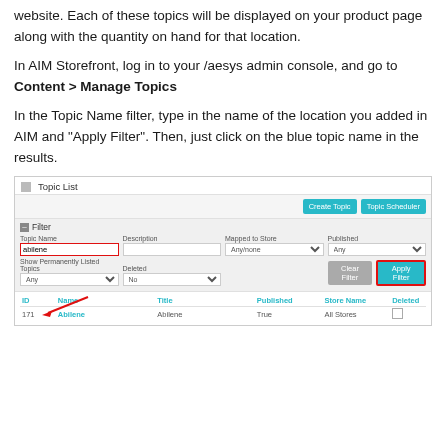website. Each of these topics will be displayed on your product page along with the quantity on hand for that location.
In AIM Storefront, log in to your /aesys admin console, and go to Content > Manage Topics
In the Topic Name filter, type in the name of the location you added in AIM and "Apply Filter". Then, just click on the blue topic name in the results.
[Figure (screenshot): Screenshot of Topic List admin interface showing filter section with Topic Name field containing 'aldean', Mapped to Store and Published dropdowns, Clear Filter and Apply Filter buttons, and results table showing an 'Abilene' row.]